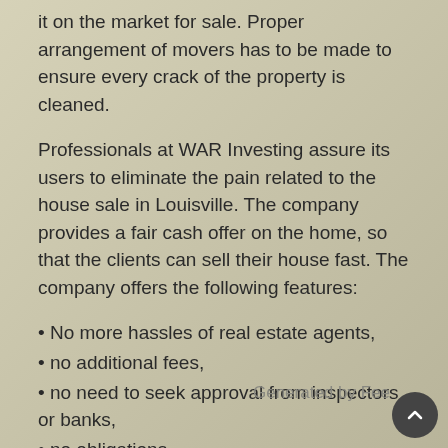it on the market for sale. Proper arrangement of movers has to be made to ensure every crack of the property is cleaned.
Professionals at WAR Investing assure its users to eliminate the pain related to the house sale in Louisville. The company provides a fair cash offer on the home, so that the clients can sell their house fast. The company offers the following features:
No more hassles of real estate agents,
no additional fees,
no need to seek approval from inspectors or banks,
no obligations,
no risks,
No middleman is involved in the procedure of real estate sale.
no cumbersome paperwork, and
No more endless waiting for the home to sell.
War Investing offers a team of highly skilled team of